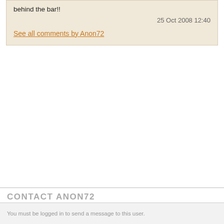behind the bar!!
25 Oct 2008 12:40
See all comments by Anon72
CONTACT ANON72
You must be logged in to send a message to this user.